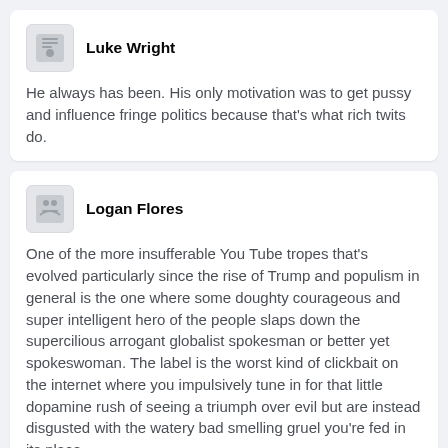Luke Wright
He always has been. His only motivation was to get pussy and influence fringe politics because that's what rich twits do.
Logan Flores
One of the more insufferable You Tube tropes that's evolved particularly since the rise of Trump and populism in general is the one where some doughty courageous and super intelligent hero of the people slaps down the supercilious arrogant globalist spokesman or better yet spokeswoman. The label is the worst kind of clickbait on the internet where you impulsively tune in for that little dopamine rush of seeing a triumph over evil but are instead disgusted with the watery bad smelling gruel you're fed in its place.
The media hype for Peterson is filled with this kind of trash.